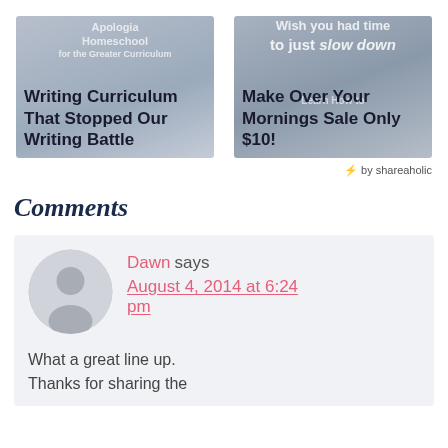[Figure (photo): Card with text overlay: Writing Curriculum That Stopped Our Writing Battle, with Apologia Homeschool watermark]
[Figure (photo): Card with text overlay: Make Over Your Mornings Sale Only $10! with 'Wish you had time to just slow down' watermark]
⚡ by shareaholic
Comments
[Figure (photo): Gray user avatar circle with silhouette icon]
Dawn says August 4, 2014 at 6:24 pm
What a great line up. Thanks for sharing the